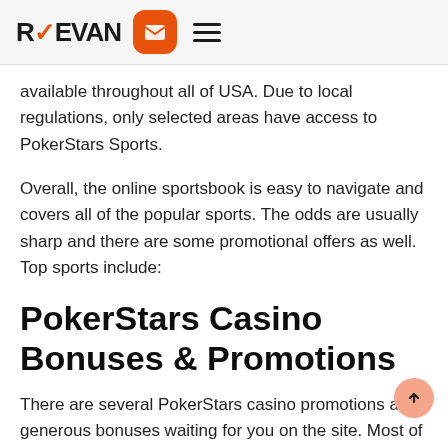REEVAN [logo with mail icon and hamburger menu]
available throughout all of USA. Due to local regulations, only selected areas have access to PokerStars Sports.
Overall, the online sportsbook is easy to navigate and covers all of the popular sports. The odds are usually sharp and there are some promotional offers as well. Top sports include:
PokerStars Casino Bonuses & Promotions
There are several PokerStars casino promotions and generous bonuses waiting for you on the site. Most of the special offers are for recreational players, but some